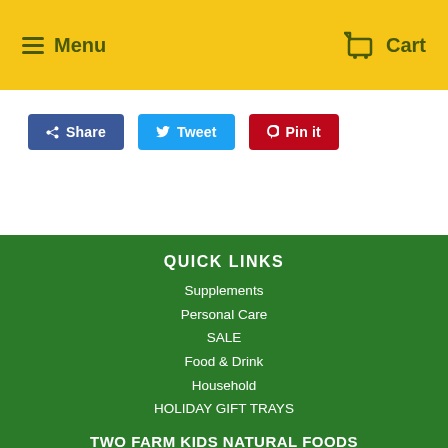Menu  Cart
Share
Tweet
Pin it
QUICK LINKS
Supplements
Personal Care
SALE
Food & Drink
Household
HOLIDAY GIFT TRAYS
TWO FARM KIDS NATURAL FOODS
Doing what's good for you, and good for the Earth!